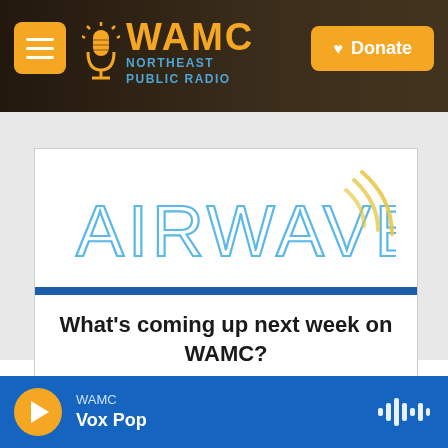[Figure (screenshot): WAMC Northeast Public Radio website screenshot showing navigation bar with hamburger menu, WAMC logo, and Donate button on dark background with photo]
[Figure (logo): AIRWAVES logo in light blue stylized thin font with wireless signal arcs in golden/yellow on the right side]
What's coming up next week on WAMC?
Sign up below to find out about upcoming programs first.
WAMC Vox Pop